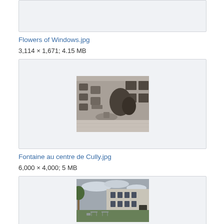[Figure (photo): Cropped top of an image box, partially visible, light gray background]
Flowers of Windows.jpg
3,114 × 1,671; 4.15 MB
[Figure (photo): Black and white photo of a fountain in a European town square with buildings]
Fontaine au centre de Cully.jpg
6,000 × 4,000; 5 MB
[Figure (photo): Outdoor photo of a large building with outdoor seating/tables in foreground under cloudy sky]